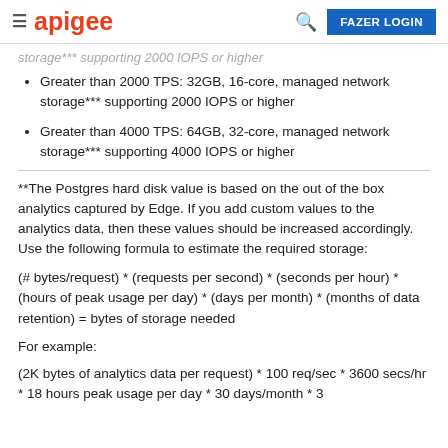apigee  FAZER LOGIN
Greater than 2000 TPS: 32GB, 16-core, managed network storage*** supporting 2000 IOPS or higher
Greater than 4000 TPS: 64GB, 32-core, managed network storage*** supporting 4000 IOPS or higher
**The Postgres hard disk value is based on the out of the box analytics captured by Edge. If you add custom values to the analytics data, then these values should be increased accordingly. Use the following formula to estimate the required storage:
For example:
(2K bytes of analytics data per request) * 100 req/sec * 3600 secs/hr * 18 hours peak usage per day * 30 days/month * 3